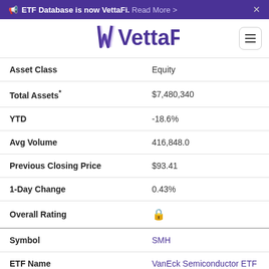ETF Database is now VettaFi. Read More >
[Figure (logo): VettaFi logo in purple with stylized W mark, and hamburger menu button]
| Field | Value |
| --- | --- |
| Asset Class | Equity |
| Total Assets* | $7,480,340 |
| YTD | -18.6% |
| Avg Volume | 416,848.0 |
| Previous Closing Price | $93.41 |
| 1-Day Change | 0.43% |
| Overall Rating | (lock icon) |
| Symbol | SMH |
| ETF Name | VanEck Semiconductor ETF |
| Asset Class | Equity |